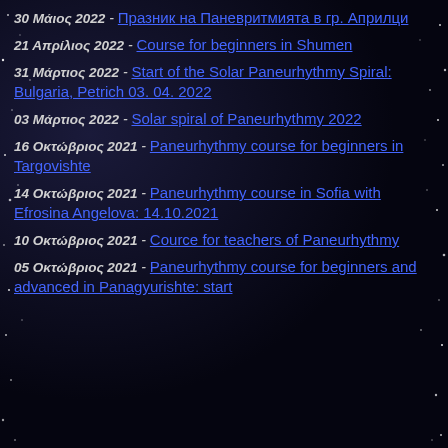30 Μάιος 2022 - Празник на Паневритмията в гр. Априлци
21 Απρίλιος 2022 - Course for beginners in Shumen
31 Μάρτιος 2022 - Start of the Solar Paneurhythmy Spiral: Bulgaria, Petrich 03. 04. 2022
03 Μάρτιος 2022 - Solar spiral of Paneurhythmy 2022
16 Οκτώβριος 2021 - Paneurhythmy course for beginners in Targovishte
14 Οκτώβριος 2021 - Paneurhythmy course in Sofia with Efrosina Angelova: 14.10.2021
10 Οκτώβριος 2021 - Cource for teachers of Paneurhythmy
05 Οκτώβριος 2021 - Paneurhythmy course for beginners and advanced in Panagyurishte: start